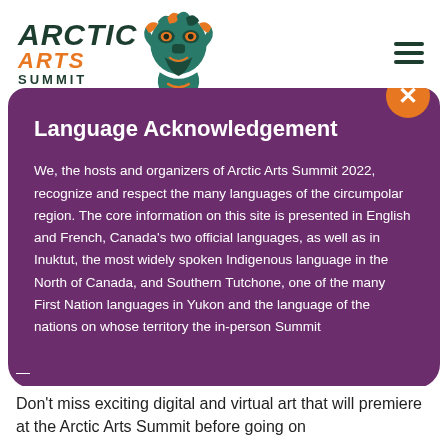Arctic Arts Summit
Language Acknowledgement
We, the hosts and organizers of Arctic Arts Summit 2022, recognize and respect the many languages of the circumpolar region. The core information on this site is presented in English and French, Canada's two official languages, as well as in Inuktut, the most widely spoken Indigenous language in the North of Canada, and Southern Tutchone, one of the many First Nation languages in Yukon and the language of the nations on whose territory the in-person Summit
Don't miss exciting digital and virtual art that will premiere at the Arctic Arts Summit before going on